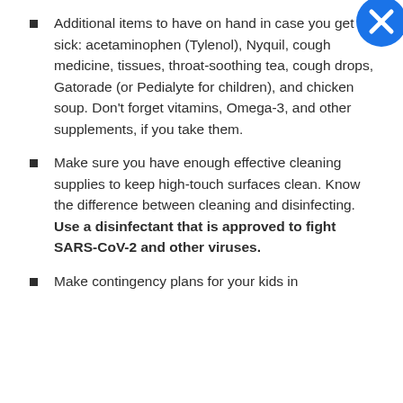[Figure (other): Blue circle icon with white X in top-right corner]
Additional items to have on hand in case you get sick: acetaminophen (Tylenol), Nyquil, cough medicine, tissues, throat-soothing tea, cough drops, Gatorade (or Pedialyte for children), and chicken soup. Don't forget vitamins, Omega-3, and other supplements, if you take them.
Make sure you have enough effective cleaning supplies to keep high-touch surfaces clean. Know the difference between cleaning and disinfecting. Use a disinfectant that is approved to fight SARS-CoV-2 and other viruses.
Make contingency plans for your kids in